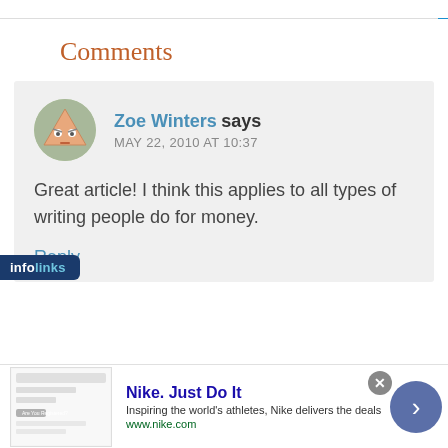Comments
Zoe Winters says
MAY 22, 2010 AT 10:37
Great article! I think this applies to all types of writing people do for money.
Reply
[Figure (infographic): infolinks advertisement bar overlay]
Nike. Just Do It
Inspiring the world's athletes, Nike delivers the deals
www.nike.com